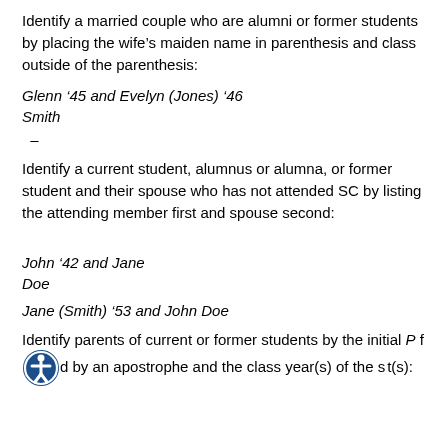Identify a married couple who are alumni or former students by placing the wife’s maiden name in parenthesis and class outside of the parenthesis:
Glenn ’45 and Evelyn (Jones) ’46 Smith
–
Identify a current student, alumnus or alumna, or former student and their spouse who has not attended SC by listing the attending member first and spouse second:
John ’42 and Jane Doe
Jane (Smith) ’53 and John Doe
Identify parents of current or former students by the initial P followed by an apostrophe and the class year(s) of the student(s):